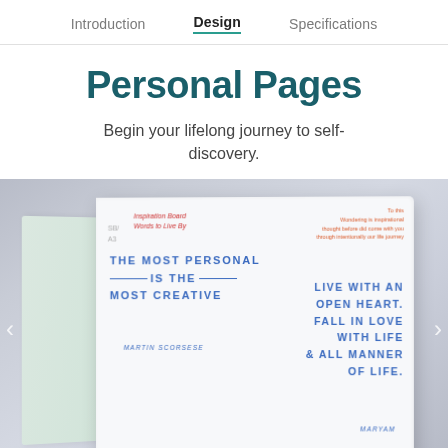Introduction | Design | Specifications
Personal Pages
Begin your lifelong journey to self-discovery.
[Figure (photo): Open notebook/journal spread showing handwritten quotes in blue ink. Left quote reads 'THE MOST PERSONAL IS THE MOST CREATIVE - MARTIN SCORSESE' with section label 'Inspiration Board / Words to Live By'. Right quote reads 'LIVE WITH AN OPEN HEART. FALL IN LOVE WITH LIFE & ALL MANNER OF LIFE. - MARYAM'. Notebook has colorful tab markers on the left side (red, orange, blue, yellow). Background is grey surface.]